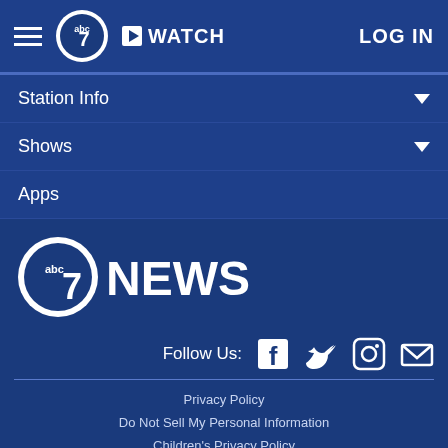ABC7 News — WATCH | LOG IN
Station Info
Shows
Apps
[Figure (logo): ABC7 News logo with large '7NEWS' text]
Follow Us: [Facebook] [Twitter] [Instagram] [Email]
Privacy Policy | Do Not Sell My Personal Information | Children's Privacy Policy | Your California Privacy Rights | Terms of Use | Interest-Based Ads | Public Inspection File | FCC Applications